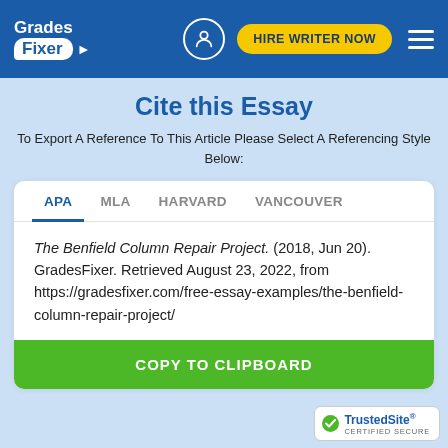Grades Fixer | HIRE WRITER NOW
Cite this Essay
To Export A Reference To This Article Please Select A Referencing Style Below:
APA  MLA  HARVARD  VANCOUVER
The Benfield Column Repair Project. (2018, Jun 20). GradesFixer. Retrieved August 23, 2022, from https://gradesfixer.com/free-essay-examples/the-benfield-column-repair-project/
COPY TO CLIPBOARD
[Figure (logo): TrustedSite Certified Secure badge with green checkmark]